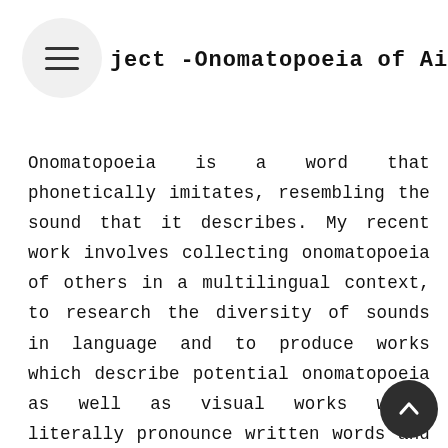[Figure (other): Hamburger menu button: circular grey background with three horizontal lines icon]
ject -Onomatopoeia of Ainu-
Onomatopoeia is a word that phonetically imitates, resembling the sound that it describes. My recent work involves collecting onomatopoeia of others in a multilingual context, to research the diversity of sounds in language and to produce works which describe potential onomatopoeia as well as visual works which literally pronounce written words and voices. The purpose of my activities is to bring out latent linguistic expressions and point toward a potential universal language by researching cultures of
[Figure (other): Back-to-top button: dark circular button with upward chevron arrow icon, bottom-right corner]